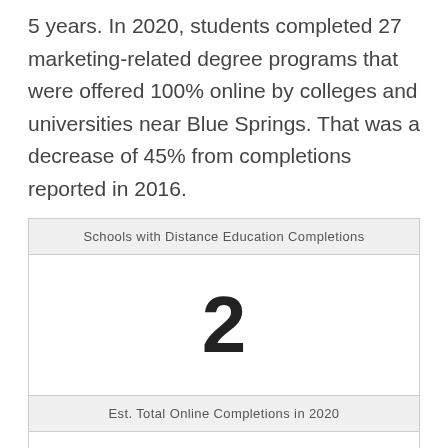5 years. In 2020, students completed 27 marketing-related degree programs that were offered 100% online by colleges and universities near Blue Springs. That was a decrease of 45% from completions reported in 2016.
| Schools with Distance Education Completions |
| --- |
| 2 |
| Est. Total Online Completions in 2020 |
| --- |
|  |